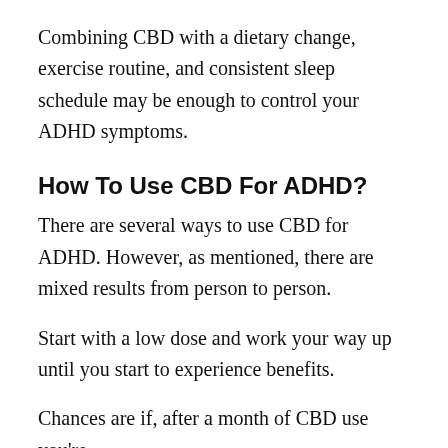Combining CBD with a dietary change, exercise routine, and consistent sleep schedule may be enough to control your ADHD symptoms.
How To Use CBD For ADHD?
There are several ways to use CBD for ADHD. However, as mentioned, there are mixed results from person to person.
Start with a low dose and work your way up until you start to experience benefits.
Chances are if, after a month of CBD use you're